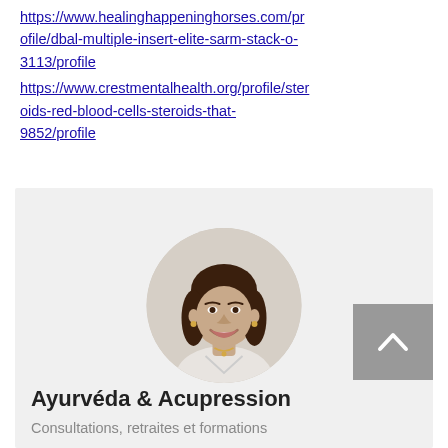https://www.healinghappeninghorses.com/profile/dbal-multiple-insert-elite-sarm-stack-o-3113/profile
https://www.crestmentalhealth.org/profile/steroids-red-blood-cells-steroids-that-9852/profile
[Figure (photo): Website card/widget with a circular profile photo of a smiling woman with dark hair, a scroll-to-top button, title 'Ayurvéda & Acupression' and subtitle 'Consultations, retraites et formations']
Ayurvéda & Acupression
Consultations, retraites et formations